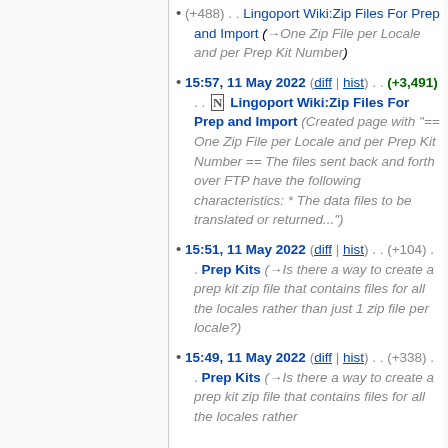(+488) . . Lingoport Wiki:Zip Files For Prep and Import (→One Zip File per Locale and per Prep Kit Number)
15:57, 11 May 2022 (diff | hist) . . (+3,491) . . N Lingoport Wiki:Zip Files For Prep and Import (Created page with "== One Zip File per Locale and per Prep Kit Number == The files sent back and forth over FTP have the following characteristics: * The data files to be translated or returned...")
15:51, 11 May 2022 (diff | hist) . . (+104) . . Prep Kits (→Is there a way to create a prep kit zip file that contains files for all the locales rather than just 1 zip file per locale?)
15:49, 11 May 2022 (diff | hist) . . (+338) . . Prep Kits (→Is there a way to create a prep kit zip file that contains files for all the locales rather